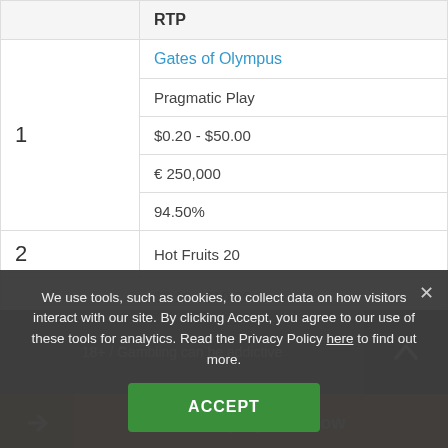|  | RTP |
| --- | --- |
| 1 | Gates of Olympus |
|  | Pragmatic Play |
|  | $0.20 - $50.00 |
|  | € 250,000 |
|  | 94.50% |
| 2 | Hot Fruits 20 |
|  | $0.10 - $10.00 |
| 3 | Starburst |
18+ / Gambling can be addictive
Pirateplay test now
We use tools, such as cookies, to collect data on how visitors interact with our site. By clicking Accept, you agree to our use of these tools for analytics. Read the Privacy Policy here to find out more.
ACCEPT